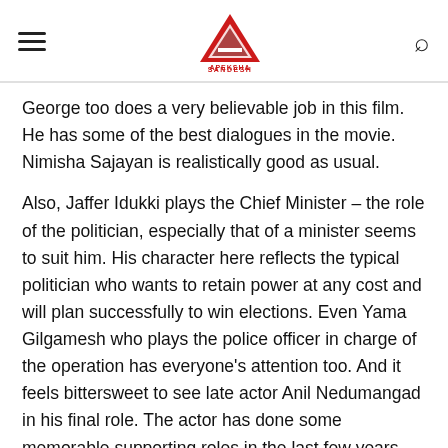Apeksha Sandesh
George too does a very believable job in this film. He has some of the best dialogues in the movie. Nimisha Sajayan is realistically good as usual.
Also, Jaffer Idukki plays the Chief Minister – the role of the politician, especially that of a minister seems to suit him. His character here reflects the typical politician who wants to retain power at any cost and will plan successfully to win elections. Even Yama Gilgamesh who plays the police officer in charge of the operation has everyone's attention too. And it feels bittersweet to see late actor Anil Nedumangad in his final role. The actor has done some memorable supporting roles in the last few years and had died by drowning at the reservoir of Malankara Dam during break in between the shoot. He played the officer who